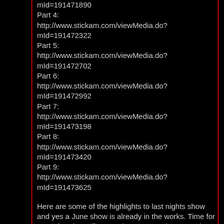mId=191471890
Part 4:
http://www.stickam.com/viewMedia.do?mId=191472322
Part 5:
http://www.stickam.com/viewMedia.do?mId=191472702
Part 6:
http://www.stickam.com/viewMedia.do?mId=191472992
Part 7:
http://www.stickam.com/viewMedia.do?mId=191473198
Part 8:
http://www.stickam.com/viewMedia.do?mId=191473420
Part 9:
http://www.stickam.com/viewMedia.do?mId=191473625
Here are some of the highlights to last nights show and yes a June show is already in the works. Time for me to head on off I am going to see a dragon and dinosaur exhibit then explore an